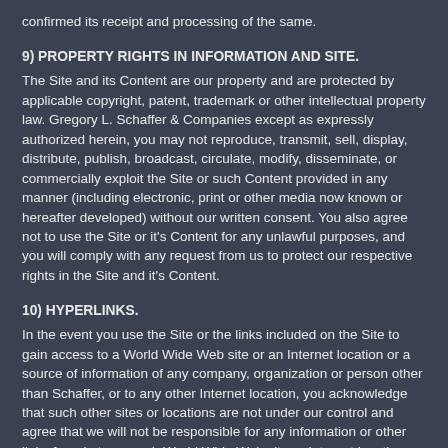confirmed its receipt and processing of the same.
9) PROPERTY RIGHTS IN INFORMATION AND SITE.
The Site and its Content are our property and are protected by applicable copyright, patent, trademark or other intellectual property law. Gregory L. Schaffer & Companies except as expressly authorized herein, you may not reproduce, transmit, sell, display, distribute, publish, broadcast, circulate, modify, disseminate, or commercially exploit the Site or such Content provided in any manner (including electronic, print or other media now known or hereafter developed) without our written consent. You also agree not to use the Site or it's Content for any unlawful purposes, and you will comply with any request from us to protect our respective rights in the Site and it's Content.
10) HYPERLINKS.
In the event you use the Site or the links included on the Site to gain access to a World Wide Web site or an Internet location or a source of information of any company, organization or person other than Schaffer, or to any other Internet location, you acknowledge that such other sites or locations are not under our control and agree that we will not be responsible for any information or other links found at any such World Wide Web site or Internet location or source of information, or for your use of such information. We provide such links only as a convenience to